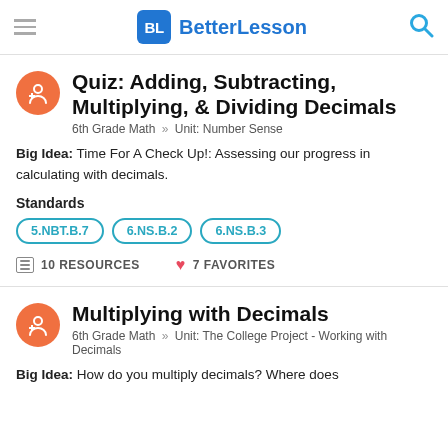BL BetterLesson
Quiz: Adding, Subtracting, Multiplying, & Dividing Decimals
6th Grade Math » Unit: Number Sense
Big Idea: Time For A Check Up!: Assessing our progress in calculating with decimals.
Standards
5.NBT.B.7   6.NS.B.2   6.NS.B.3
10 RESOURCES   7 FAVORITES
Multiplying with Decimals
6th Grade Math » Unit: The College Project - Working with Decimals
Big Idea: How do you multiply decimals? Where does